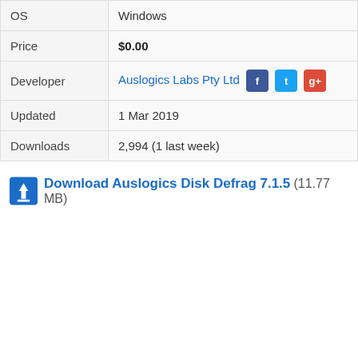| OS | Windows |
| Price | $0.00 |
| Developer | Auslogics Labs Pty Ltd |
| Updated | 1 Mar 2019 |
| Downloads | 2,994 (1 last week) |
Download Auslogics Disk Defrag 7.1.5 (11.77 MB)